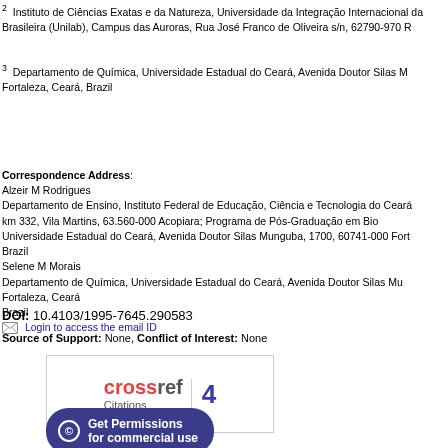2 Instituto de Ciências Exatas e da Natureza, Universidade da Integração Internacional da Brasileira (Unilab), Campus das Auroras, Rua José Franco de Oliveira s/n, 62790-970 R
3 Departamento de Química, Universidade Estadual do Ceará, Avenida Doutor Silas Mu Fortaleza, Ceará, Brazil
Correspondence Address:
Alzeir M Rodrigues
Departamento de Ensino, Instituto Federal de Educação, Ciência e Tecnologia do Ceará km 332, Vila Martins, 63.560-000 Acopiara; Programa de Pós-Graduação em Bio Universidade Estadual do Ceará, Avenida Doutor Silas Munguba, 1700, 60741-000 Fort Brazil
Selene M Morais
Departamento de Química, Universidade Estadual do Ceará, Avenida Doutor Silas Mu Fortaleza, Ceará
Brazil
Login to access the email ID
Source of Support: None, Conflict of Interest: None
[Figure (logo): CrossRef Citations badge showing 4 citations]
DOI: 10.4103/1995-7645.290583
Get Permissions for commercial use